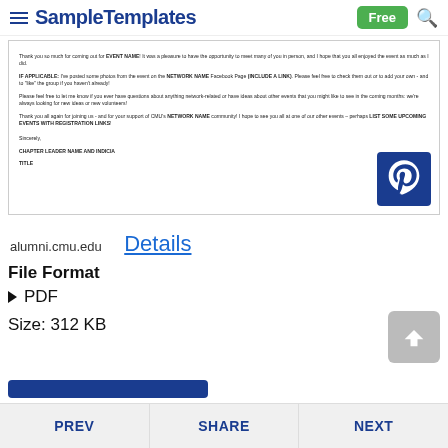SampleTemplates — Free
[Figure (screenshot): Document preview showing a letter template with text about an event, network name, and chapter leader. A Pinterest logo appears in the bottom right of the preview.]
alumni.cmu.edu
Details
File Format
PDF
Size: 312 KB
PREV   SHARE   NEXT